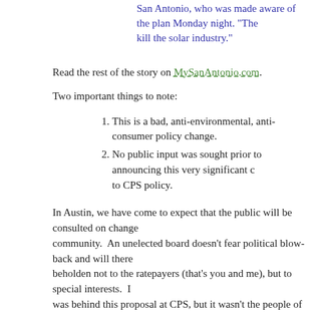San Antonio, who was made aware of the plan Monday night. “The kill the solar industry.”
Read the rest of the story on MySanAntonio.com.
Two important things to note:
1. This is a bad, anti-environmental, anti-consumer policy change.
2. No public input was sought prior to announcing this very significant change to CPS policy.
In Austin, we have come to expect that the public will be consulted on changes that affect our community. An unelected board doesn’t fear political blow-back and will therefore be beholden not to the ratepayers (that’s you and me), but to special interests. I was behind this proposal at CPS, but it wasn’t the people of San Antonio.
Please, stop by City Hall and register against item #11 on today’s City Council agenda. If you have time to say a few words on behalf of democracy, arrive by 4pm if you can. It doesn’t always run on time though, so even if you can’t get there until 5:00 or later you may still get a chance to speak.
Read Full Post »